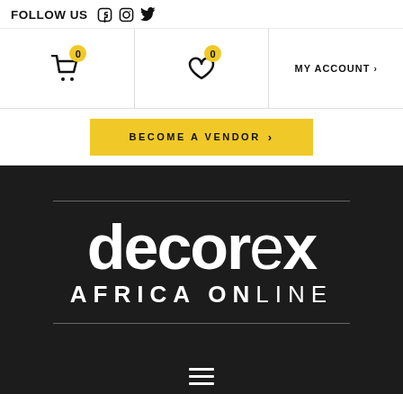FOLLOW US
[Figure (logo): Shopping cart icon with badge 0]
[Figure (logo): Heart/wishlist icon with badge 0]
MY ACCOUNT
BECOME A VENDOR
[Figure (logo): Decorex Africa Online logo on dark background]
[Figure (logo): Hamburger menu icon]